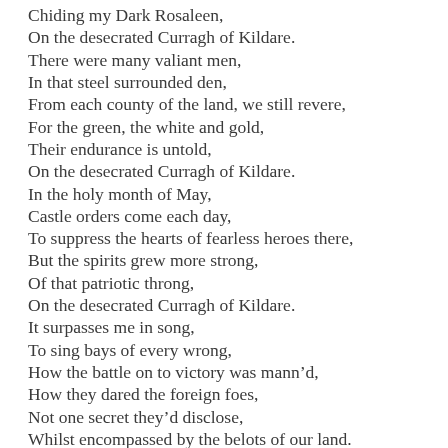Chiding my Dark Rosaleen,
On the desecrated Curragh of Kildare.
There were many valiant men,
In that steel surrounded den,
From each county of the land, we still revere,
For the green, the white and gold,
Their endurance is untold,
On the desecrated Curragh of Kildare.
In the holy month of May,
Castle orders come each day,
To suppress the hearts of fearless heroes there,
But the spirits grew more strong,
Of that patriotic throng,
On the desecrated Curragh of Kildare.
It surpasses me in song,
To sing bays of every wrong,
How the battle on to victory was mann'd,
How they dared the foreign foes,
Not one secret they'd disclose,
Whilst encompassed by the belots of our land.